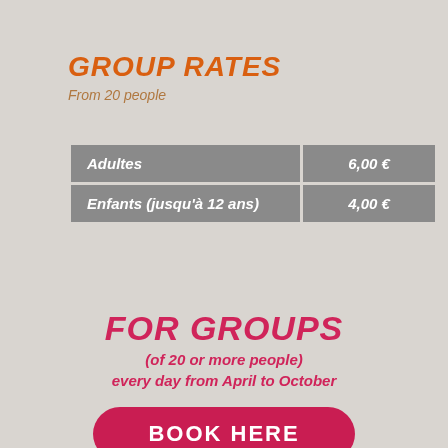GROUP RATES
From 20 people
|  |  |
| --- | --- |
| Adultes | 6,00 € |
| Enfants (jusqu'à 12 ans) | 4,00 € |
FOR GROUPS
(of 20 or more people)
every day from April to October
BOOK HERE